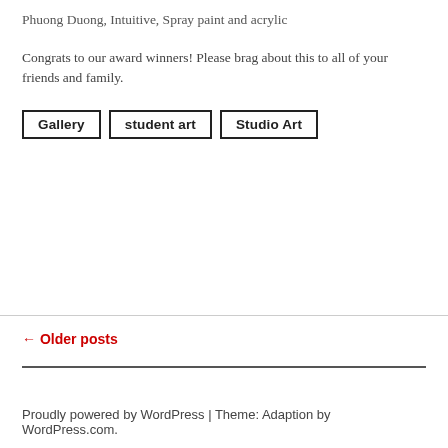Phuong Duong, Intuitive, Spray paint and acrylic
Congrats to our award winners! Please brag about this to all of your friends and family.
Gallery
student art
Studio Art
← Older posts
Proudly powered by WordPress | Theme: Adaption by WordPress.com.